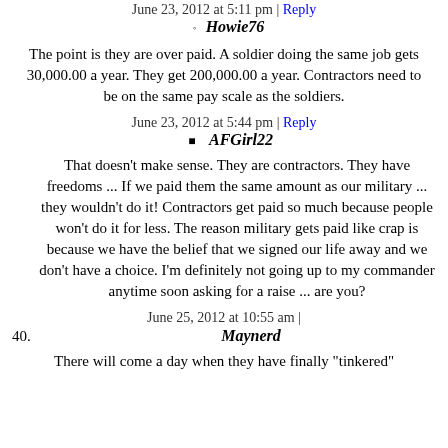June 23, 2012 at 5:11 pm | Reply
Howie76
The point is they are over paid. A soldier doing the same job gets 30,000.00 a year. They get 200,000.00 a year. Contractors need to be on the same pay scale as the soldiers.
June 23, 2012 at 5:44 pm | Reply
AFGirl22
That doesn't make sense. They are contractors. They have freedoms ... If we paid them the same amount as our military ... they wouldn't do it! Contractors get paid so much because people won't do it for less. The reason military gets paid like crap is because we have the belief that we signed our life away and we don't have a choice. I'm definitely not going up to my commander anytime soon asking for a raise ... are you?
June 25, 2012 at 10:55 am |
40. Maynerd
There will come a day when they have finally "tinkered"